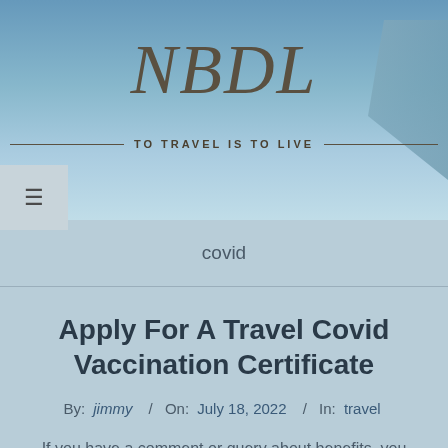[Figure (illustration): Website header with sky and airplane background, NBDL logo in italic serif font, tagline 'TO TRAVEL IS TO LIVE' with horizontal lines on either side]
covid
Apply For A Travel Covid Vaccination Certificate
By: jimmy / On: July 18, 2022 / In: travel
If you have a comment or query about benefits, you will need to contact the government department or agency which handles that benefit. There is no data, personal or other, held or stored